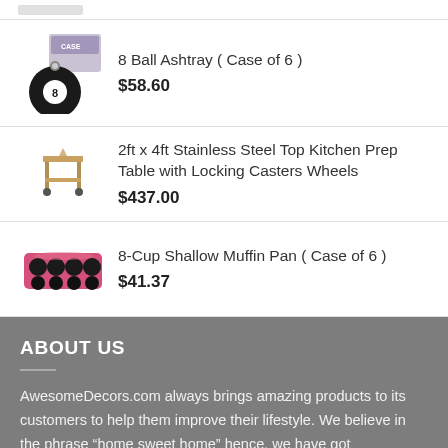8 Ball Ashtray ( Case of 6 ) $58.60
2ft x 4ft Stainless Steel Top Kitchen Prep Table with Locking Casters Wheels $437.00
8-Cup Shallow Muffin Pan ( Case of 6 ) $41.37
ABOUT US
AwesomeDecors.com always brings amazing products to its customers to help them improve their lifestyle. We believe in the phrase “home sweet home” hence, we have got